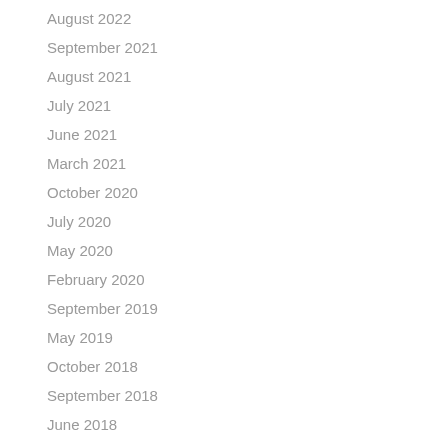August 2022
September 2021
August 2021
July 2021
June 2021
March 2021
October 2020
July 2020
May 2020
February 2020
September 2019
May 2019
October 2018
September 2018
June 2018